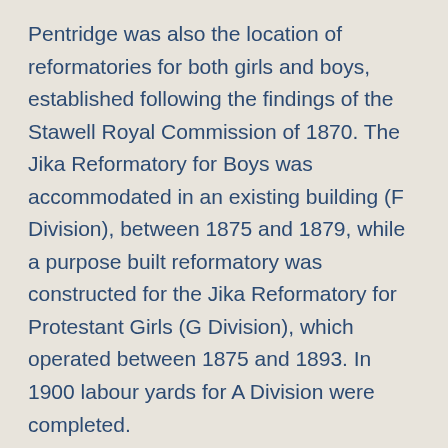Pentridge was also the location of reformatories for both girls and boys, established following the findings of the Stawell Royal Commission of 1870. The Jika Reformatory for Boys was accommodated in an existing building (F Division), between 1875 and 1879, while a purpose built reformatory was constructed for the Jika Reformatory for Protestant Girls (G Division), which operated between 1875 and 1893. In 1900 labour yards for A Division were completed.

During the 1950s these yards were later